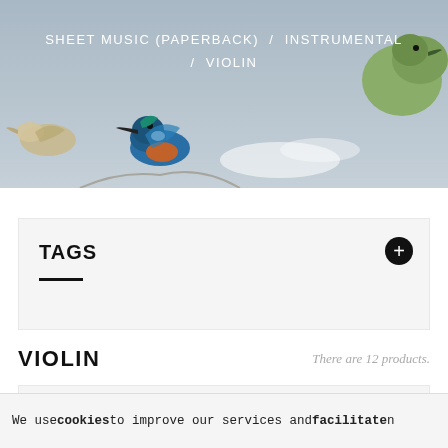[Figure (illustration): Painting of birds including a kingfisher and other birds on a muted blue-grey background, used as a decorative header image.]
SHEET MUSIC (PAPERBACK) / INSTRUMENTAL / VIOLIN
TAGS
VIOLIN
There are 12 products.
[Figure (illustration): Product card placeholder with decorative background and a red button element partially visible.]
We use cookies to improve our services and facilitate n